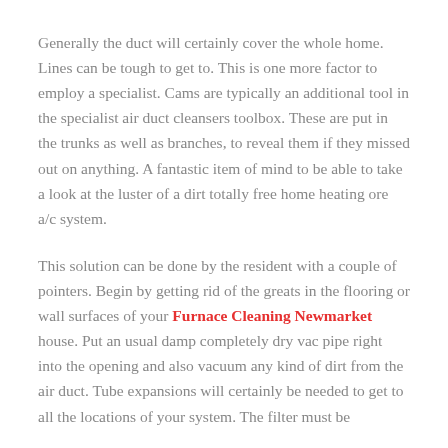Generally the duct will certainly cover the whole home. Lines can be tough to get to. This is one more factor to employ a specialist. Cams are typically an additional tool in the specialist air duct cleansers toolbox. These are put in the trunks as well as branches, to reveal them if they missed out on anything. A fantastic item of mind to be able to take a look at the luster of a dirt totally free home heating ore a/c system.
This solution can be done by the resident with a couple of pointers. Begin by getting rid of the greats in the flooring or wall surfaces of your Furnace Cleaning Newmarket house. Put an usual damp completely dry vac pipe right into the opening and also vacuum any kind of dirt from the air duct. Tube expansions will certainly be needed to get to all the locations of your system. The filter must be